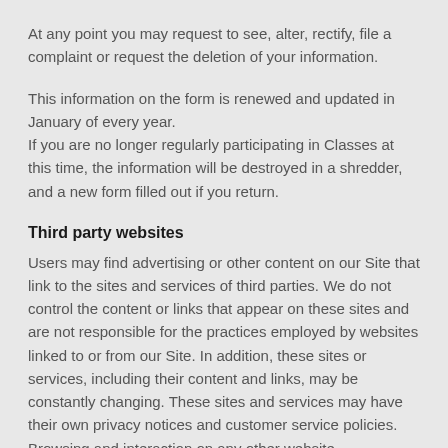At any point you may request to see, alter, rectify, file a complaint or request the deletion of your information.
This information on the form is renewed and updated in January of every year.
If you are no longer regularly participating in Classes at this time, the information will be destroyed in a shredder, and a new form filled out if you return.
Third party websites
Users may find advertising or other content on our Site that link to the sites and services of third parties. We do not control the content or links that appear on these sites and are not responsible for the practices employed by websites linked to or from our Site. In addition, these sites or services, including their content and links, may be constantly changing. These sites and services may have their own privacy notices and customer service policies. Browsing and interaction on any other website,